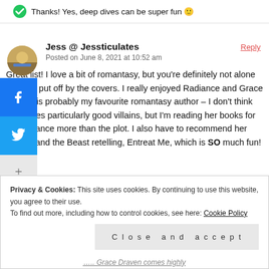Thanks! Yes, deep dives can be super fun 🙂
Jess @ Jessticulates
Posted on June 8, 2021 at 10:52 am
Great list! I love a bit of romantasy, but you're definitely not alone in being put off by the covers. I really enjoyed Radiance and Grace Draven is probably my favourite romantasy author – I don't think she writes particularly good villains, but I'm reading her books for the romance more than the plot. I also have to recommend her Beauty and the Beast retelling, Entreat Me, which is SO much fun!
Privacy & Cookies: This site uses cookies. By continuing to use this website, you agree to their use.
To find out more, including how to control cookies, see here: Cookie Policy
Close and accept